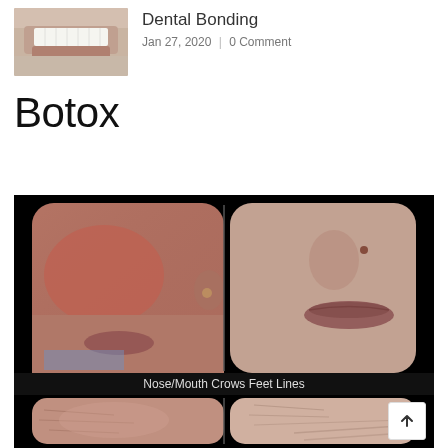[Figure (photo): Thumbnail photo of teeth/smile — dental bonding before/after]
Dental Bonding
Jan 27, 2020  |  0 Comment
Botox
[Figure (photo): Before and after Botox treatment photos showing face/lips area (Nose/Mouth) and Crows Feet Lines, split panel comparison on black background]
Nose/Mouth Crows Feet Lines